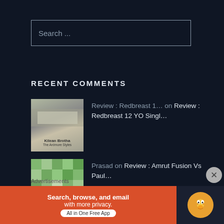Search ...
RECENT COMMENTS
Review : Redbreast 1... on Review : Redbreast 12 YO Singl...
Prasad on Review : Amrut Fusion Vs Paul...
Donnie on Review : Amrut Fusion Vs Paul...
Advertisements
[Figure (screenshot): DuckDuckGo advertisement banner: Search, browse, and email with more privacy. All in One Free App]